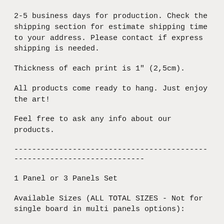2-5 business days for production. Check the shipping section for estimate shipping time to your address. Please contact if express shipping is needed.
Thickness of each print is 1" (2,5cm).
All products come ready to hang. Just enjoy the art!
Feel free to ask any info about our products.
------------------------------------------------------------------------
1 Panel or 3 Panels Set
Available Sizes (ALL TOTAL SIZES - Not for single board in multi panels options):